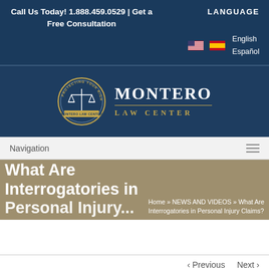Call Us Today! 1.888.459.0529 | Get a Free Consultation
LANGUAGE
English
Español
[Figure (logo): Montero Law Center logo: circular badge with scales of justice and text 'MONTERO LAW CENTER' beside it]
Navigation
What Are Interrogatories in Personal Injury...
Home » NEWS AND VIDEOS » What Are Interrogatories in Personal Injury Claims?
‹ Previous    Next ›